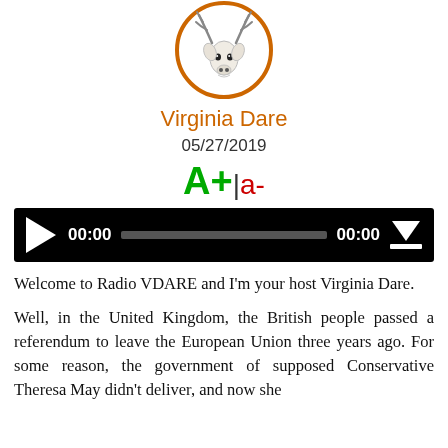[Figure (logo): Virginia Dare logo: a deer/antelope head inside an orange circle]
Virginia Dare
05/27/2019
[Figure (other): Font size controls: A+ (green, large) | a- (red, smaller)]
[Figure (other): Audio player widget with play button, time 00:00, progress bar, end time 00:00, and download button]
Welcome to Radio VDARE and I'm your host Virginia Dare.
Well, in the United Kingdom, the British people passed a referendum to leave the European Union three years ago. For some reason, the government of supposed Conservative Theresa May didn't deliver, and now she